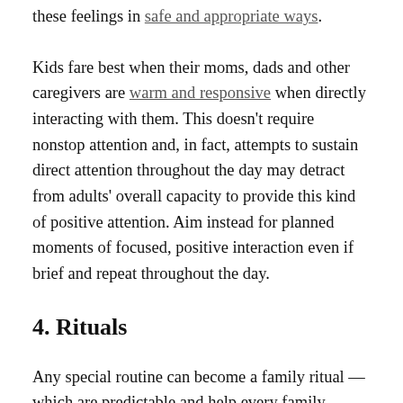these feelings in safe and appropriate ways.
Kids fare best when their moms, dads and other caregivers are warm and responsive when directly interacting with them. This doesn't require nonstop attention and, in fact, attempts to sustain direct attention throughout the day may detract from adults' overall capacity to provide this kind of positive attention. Aim instead for planned moments of focused, positive interaction even if brief and repeat throughout the day.
4. Rituals
Any special routine can become a family ritual — which are predictable and help every family member